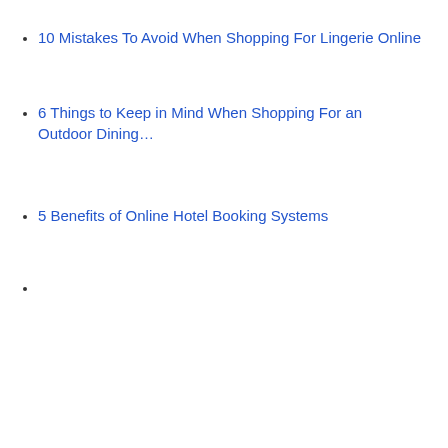10 Mistakes To Avoid When Shopping For Lingerie Online
6 Things to Keep in Mind When Shopping For an Outdoor Dining…
5 Benefits of Online Hotel Booking Systems